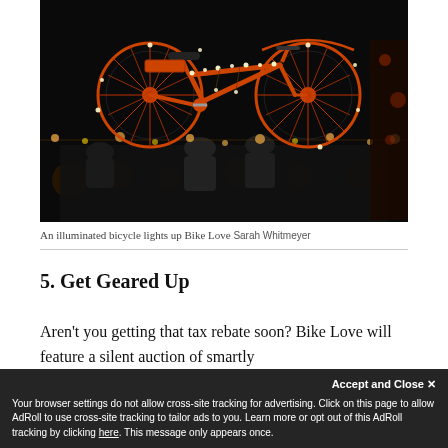[Figure (photo): An orange bicycle decorated with string lights suspended above a crowd of people at a nighttime event called Bike Love. Dark background with bokeh lights.]
An illuminated bicycle lights up Bike Love Sarah Whitmeyer
5. Get Geared Up
Aren't you getting that tax rebate soon? Bike Love will feature a silent auction of smartly designed...
Accept and Close ×
Your browser settings do not allow cross-site tracking for advertising. Click on this page to allow AdRoll to use cross-site tracking to tailor ads to you. Learn more or opt out of this AdRoll tracking by clicking here. This message only appears once.